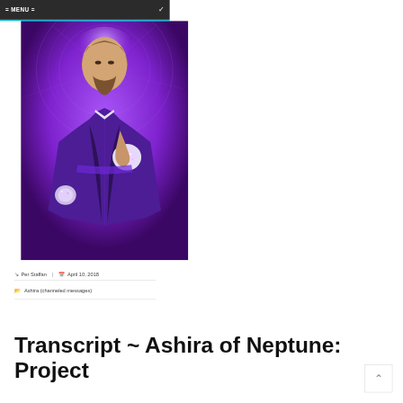= MENU =
[Figure (illustration): Digital illustration of a man in purple robes with glowing energy in his hands against a purple cosmic background]
Per Staffan  |  April 10, 2018
Ashira (channeled messages)
Transcript ~ Ashira of Neptune: Project